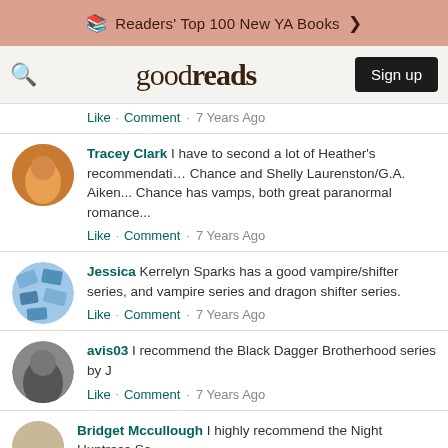Readers' Top 100 New YA Books
[Figure (screenshot): Goodreads logo with search icon and Sign up button in navigation bar]
Like · Comment · 7 Years Ago
Tracey Clark I have to second a lot of Heather's recommendations. Chance and Shelly Laurenston/G.A. Aiken... Chance has vamps, both great paranormal romance...
Like · Comment · 7 Years Ago
Jessica Kerrelyn Sparks has a good vampire/shifter series, and vampire series and dragon shifter series.
Like · Comment · 7 Years Ago
avis03 I recommend the Black Dagger Brotherhood series by J
Like · Comment · 7 Years Ago
Bridget Mccullough I highly recommend the Night Huntress Se